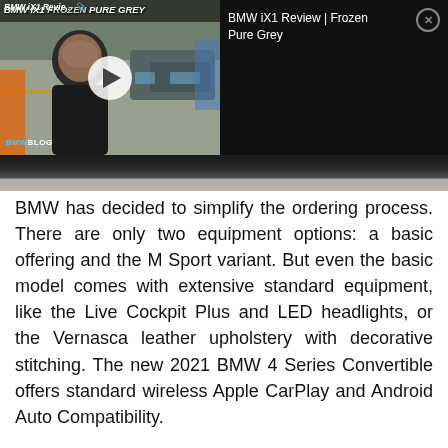[Figure (screenshot): A screenshot of a BMW iX1 video review with title 'BMW iX1 Review | Frozen Pure Grey'. Shows a video thumbnail on the left with a man in the foreground, BMW cars in the background, a play button overlay, and BMW Blog watermark. On the right is a black info panel showing the video title and a close button. Below is a grey road surface background.]
BMW has decided to simplify the ordering process. There are only two equipment options: a basic offering and the M Sport variant. But even the basic model comes with extensive standard equipment, like the Live Cockpit Plus and LED headlights, or the Vernasca leather upholstery with decorative stitching. The new 2021 BMW 4 Series Convertible offers standard wireless Apple CarPlay and Android Auto Compatibility.